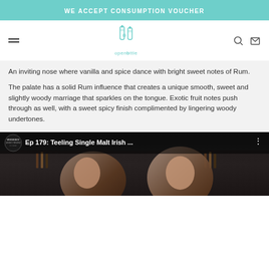WE ACCEPT CONSUMPTION VOUCHER
[Figure (logo): OpenBottle logo with two bottle icons and teal text 'openbottle']
An inviting nose where vanilla and spice dance with bright sweet notes of Rum.
The palate has a solid Rum influence that creates a unique smooth, sweet and slightly woody marriage that sparkles on the tongue. Exotic fruit notes push through as well, with a sweet spicy finish complimented by lingering woody undertones.
[Figure (screenshot): Video thumbnail showing 'Ep 179: Teeling Single Malt Irish ...' with WhiskeyV logo and two men in a bar setting]